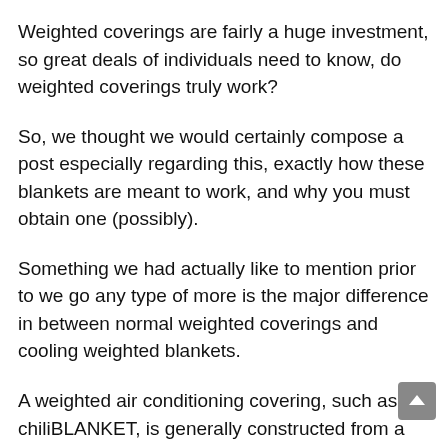Weighted coverings are fairly a huge investment, so great deals of individuals need to know, do weighted coverings truly work?
So, we thought we would certainly compose a post especially regarding this, exactly how these blankets are meant to work, and why you must obtain one (possibly).
Something we had actually like to mention prior to we go any type of more is the major difference in between normal weighted coverings and cooling weighted blankets.
A weighted air conditioning covering, such as the chiliBLANKET, is generally constructed from a lighter, extra breathable textile that does not absorb dampness and ma you warm or sweaty. We will certainly explore exactly how